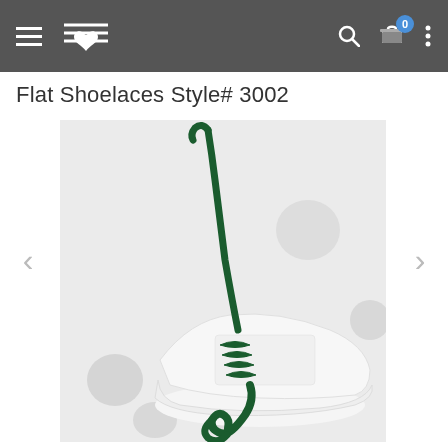Navigation bar with hamburger menu, logo, search, cart (0), more options
Flat Shoelaces Style# 3002
[Figure (photo): A white sneaker shoe with dark green flat shoelaces, one lace pulled up and out dramatically, photographed against a white background with white spherical objects.]